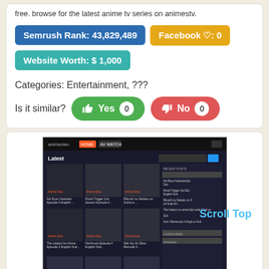free. browse for the latest anime tv series on animestv.
Semrush Rank: 43,829,489
Facebook ♡: 0
Website Worth: $ 1,000
Categories: Entertainment, ???
Is it similar?
Yes 0
No 0
[Figure (screenshot): Screenshot of animedao website showing anime episodes grid with dark theme and sidebar with recent posts and categories]
Scroll Top
Like 0